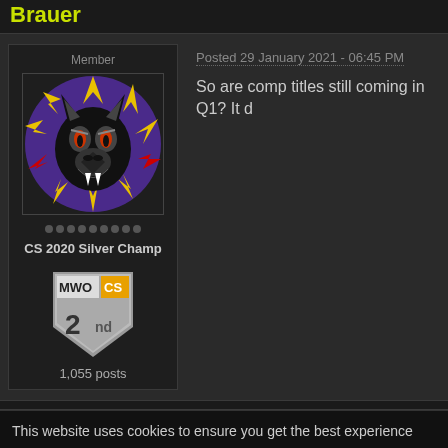Brauer
Member
[Figure (illustration): Avatar image of a dark wolf/cat creature with colorful spiky background on purple circle]
CS 2020 Silver Champ
[Figure (illustration): MWO CS 2nd place badge/shield in silver]
1,055 posts
Posted 29 January 2021 - 06:45 PM
So are comp titles still coming in Q1? It d
Magic Pain Glove
This website uses cookies to ensure you get the best experience